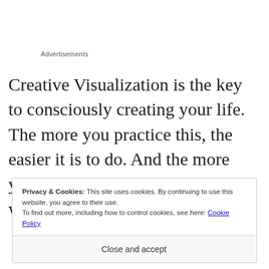Advertisements
Creative Visualization is the key to consciously creating your life. The more you practice this, the easier it is to do. And the more you do it, the more you succeed, which makes doing it even easier.
Privacy & Cookies: This site uses cookies. By continuing to use this website, you agree to their use. To find out more, including how to control cookies, see here: Cookie Policy
Close and accept